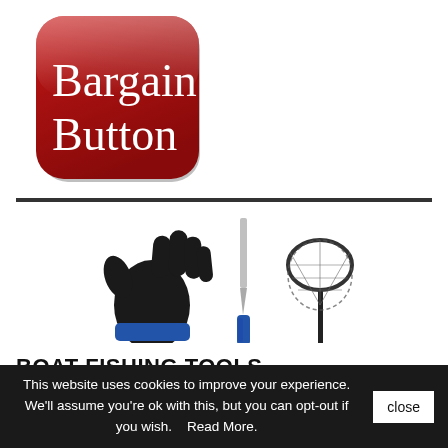[Figure (logo): Bargain Button logo — dark red rounded square with white serif text reading 'Bargain Button']
[Figure (photo): Fishing tools product photo showing a black fishing glove with blue accessory, a blue-handled fillet knife, and a round fishing landing net]
BOAT FISHING TOOLS
There are 35 products.
This website uses cookies to improve your experience. We'll assume you're ok with this, but you can opt-out if you wish.    Read More.